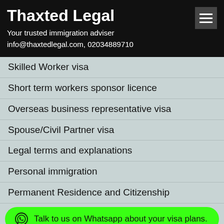Thaxted Legal
Your trusted immigration adviser
info@thaxtedlegal.com, 02034889710
Skilled Worker visa
Short term workers sponsor licence
Overseas business representative visa
Spouse/Civil Partner visa
Legal terms and explanations
Personal immigration
Permanent Residence and Citizenship
EU nationals
How to apply & get sponsor licence
Sp...
Adult Dependant Relative (ADR) visa
Talk to us on Whatsapp about your visa plans.